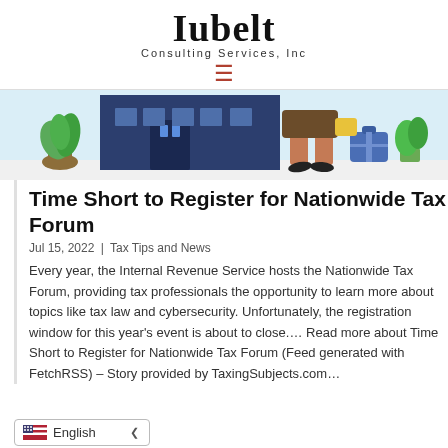Iubelt Consulting Services, Inc
[Figure (illustration): Partial illustration of a business professional walking scene with plants and luggage, colorful flat design]
Time Short to Register for Nationwide Tax Forum
Jul 15, 2022 | Tax Tips and News
Every year, the Internal Revenue Service hosts the Nationwide Tax Forum, providing tax professionals the opportunity to learn more about topics like tax law and cybersecurity. Unfortunately, the registration window for this year’s event is about to close.… Read more about Time Short to Register for Nationwide Tax Forum (Feed generated with FetchRSS) – Story provided by TaxingSubjects.com…